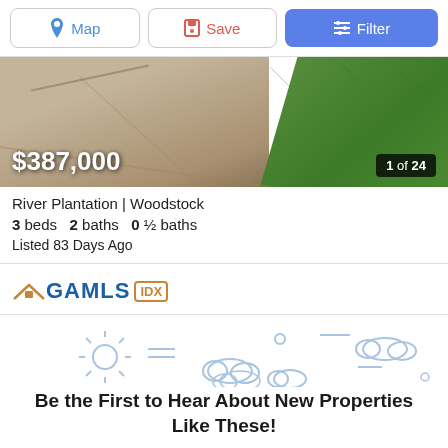[Figure (screenshot): Top navigation buttons: Map, Save, Filter]
[Figure (photo): Property exterior photo showing concrete driveway/sidewalk on left and green lawn on right. Price $387,000 overlaid bottom-left, '1 of 24' badge bottom-right.]
River Plantation | Woodstock
3 beds  2 baths  0 ½ baths
Listed 83 Days Ago
[Figure (logo): GAMLS IDX logo — blue GAMLS text with orange roof accent and IDX badge]
[Figure (illustration): Weather icons: sun on left, clouds in center and right, decorative lines]
Be the First to Hear About New Properties Like These!
Notify Me